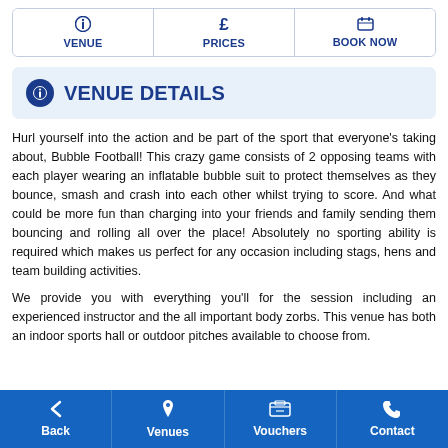VENUE | £ PRICES | BOOK NOW
VENUE DETAILS
Hurl yourself into the action and be part of the sport that everyone's taking about, Bubble Football! This crazy game consists of 2 opposing teams with each player wearing an inflatable bubble suit to protect themselves as they bounce, smash and crash into each other whilst trying to score. And what could be more fun than charging into your friends and family sending them bouncing and rolling all over the place! Absolutely no sporting ability is required which makes us perfect for any occasion including stags, hens and team building activities.
We provide you with everything you'll for the session including an experienced instructor and the all important body zorbs. This venue has both an indoor sports hall or outdoor pitches available to choose from.
Back | Venues | Vouchers | Contact